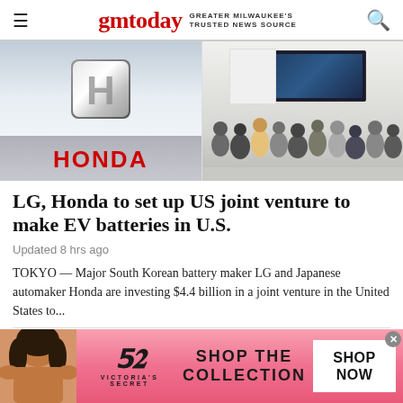gmtoday — GREATER MILWAUKEE'S TRUSTED NEWS SOURCE
[Figure (photo): Two photos side by side: left shows Honda logo/sign; right shows crowd of people at a technology exhibition with a large display screen]
LG, Honda to set up US joint venture to make EV batteries in U.S.
Updated 8 hrs ago
TOKYO — Major South Korean battery maker LG and Japanese automaker Honda are investing $4.4 billion in a joint venture in the United States to...
[Figure (photo): Victoria's Secret advertisement banner with model, VS logo, 'SHOP THE COLLECTION' text and 'SHOP NOW' button]